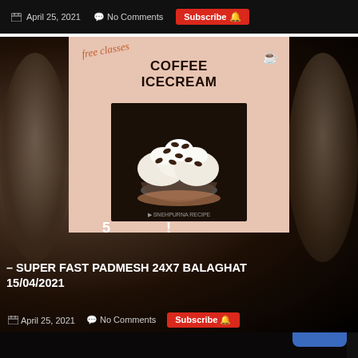April 25, 2021   No Comments   Subscribe
[Figure (photo): Blog post card showing a coffee icecream promotional image with 'free classes' script text, 'COFFEE ICECREAM' title, and a photo of whipped cream icecream topped with coffee beans in a glass bowl held by hand. Watermark: SNEHPURNA RECIPE.]
5   ! – SUPER FAST PADMESH 24X7 BALAGHAT 15/04/2021
April 25, 2021   No Comments   Subscribe
[Figure (photo): Partial bottom card showing a dark background with a partially visible food/drink image and a blue TOP button in the top right corner.]